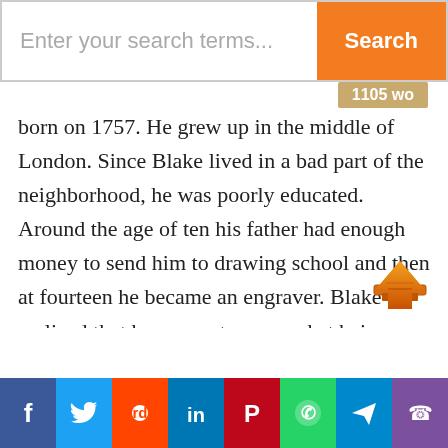[Figure (screenshot): Search bar UI element with orange Search button]
born on 1757. He grew up in the middle of London. Since Blake lived in a bad part of the neighborhood, he was poorly educated. Around the age of ten his father had enough money to send him to drawing school and then at fourteen he became an engraver. Blake realized that he was not any good at being artistic. Starting in 1778 Blake began making a living by giving booksellers and publishers with copperphte engravings.

In Blake s later years he began to write The
[Figure (illustration): Orange scroll-to-top arrow icon]
Social share buttons: Facebook, Twitter, Reddit, LinkedIn, Pinterest, WhatsApp, Telegram, Viber